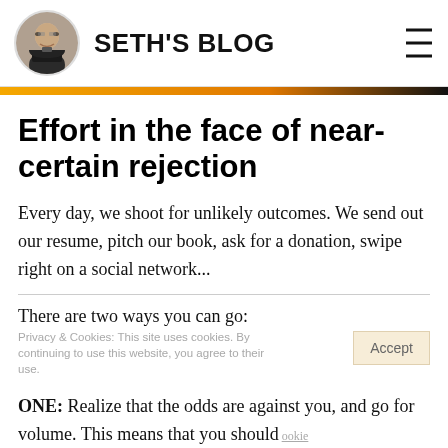SETH'S BLOG
Effort in the face of near-certain rejection
Every day, we shoot for unlikely outcomes. We send out our resume, pitch our book, ask for a donation, swipe right on a social network...
There are two ways you can go:
ONE: Realize that the odds are against you, and go for volume. This means that you should spray and pray, putting as little effort into each